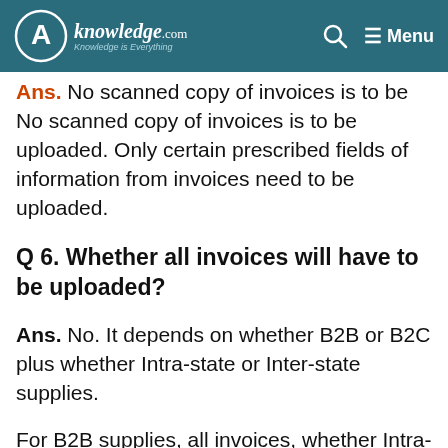Knowledge.com
Ans. No scanned copy of invoices is to be uploaded. Only certain prescribed fields of information from invoices need to be uploaded.
Q 6. Whether all invoices will have to be uploaded?
Ans. No. It depends on whether B2B or B2C plus whether Intra-state or Inter-state supplies.
For B2B supplies, all invoices, whether Intra-